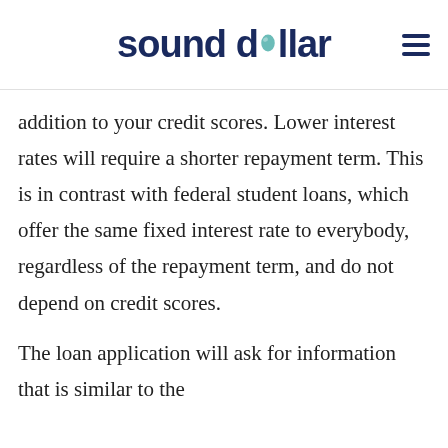sound dollar
addition to your credit scores. Lower interest rates will require a shorter repayment term. This is in contrast with federal student loans, which offer the same fixed interest rate to everybody, regardless of the repayment term, and do not depend on credit scores.
The loan application will ask for information that is similar to the